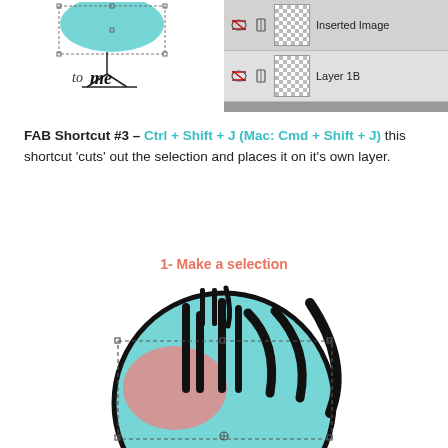[Figure (screenshot): Top left: decorative lettering artwork showing 'to me' text with teal circle design element. Top right: Photoshop layers panel showing 'Inserted Image' and 'Layer 1B' layer rows with eye icons and thumbnails.]
FAB Shortcut #3 – Ctrl + Shift + J (Mac: Cmd + Shift + J) this shortcut 'cuts' out the selection and places it on it's own layer.
1- Make a selection
[Figure (screenshot): A graphic design artwork showing text/lettering with a teal circle background, pink blob shape, and black hand-lettered text, with a dashed selection marquee bounding box with handles around it.]